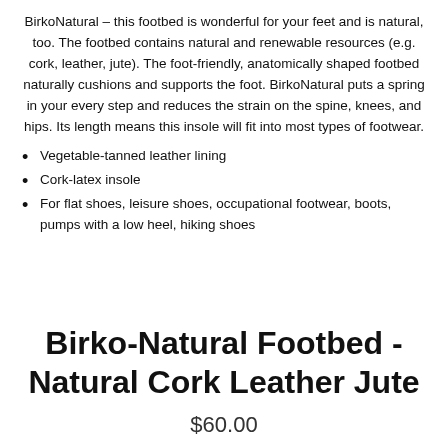BirkoNatural – this footbed is wonderful for your feet and is natural, too. The footbed contains natural and renewable resources (e.g. cork, leather, jute). The foot-friendly, anatomically shaped footbed naturally cushions and supports the foot. BirkoNatural puts a spring in your every step and reduces the strain on the spine, knees, and hips. Its length means this insole will fit into most types of footwear.
Vegetable-tanned leather lining
Cork-latex insole
For flat shoes, leisure shoes, occupational footwear, boots, pumps with a low heel, hiking shoes
Birko-Natural Footbed - Natural Cork Leather Jute
$60.00